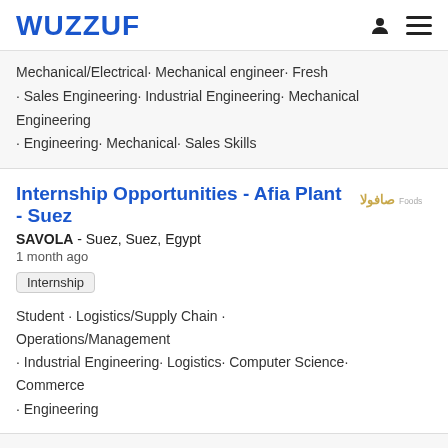WUZZUF
Mechanical/Electrical· Mechanical engineer· Fresh · Sales Engineering· Industrial Engineering· Mechanical Engineering · Engineering· Mechanical· Sales Skills
Internship Opportunities - Afia Plant - Suez
SAVOLA - Suez, Suez, Egypt
1 month ago
Internship
Student · Logistics/Supply Chain · Operations/Management ·Industrial Engineering· Logistics· Computer Science· Commerce ·Engineering
Industrial Engineer
Confidential - Nasr City, Cairo, Egypt
2 months ago